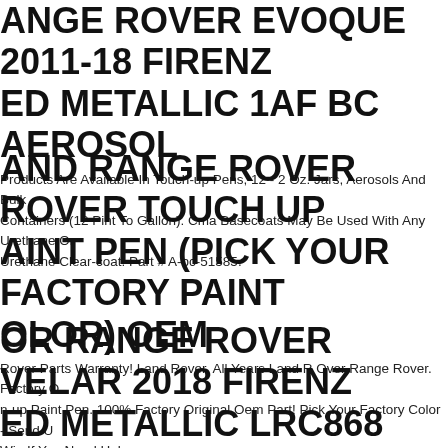RANGE ROVER EVOQUE 2011-18 FIRENZ ED METALLIC 1AF BC AEROSOL
Products Are Available In Touch-up Pens, 12 - 2 Oz. Jars, Aerosols And Bulk Containers (12 Pint To Gallon). Cma Basecoats May Be Used With Any Urethane Or Urethane Clear-coat. Part # A-bc-51585.
LAND RANGE ROVER ROVER TOUCH UP PAINT PEN (PICK YOUR FACTORY PAINT COLOR) OEM
Rover Parts Warranty! Land Rover. All Years Land R Over Range Rover. Factory OEM Touch-up Paint Pen. 100% Factory Original Oem Part! Pick Your Factory Color - Send Us A Win If You Need Help.
FOR RANGE ROVER VELAR 2018 FIRENZ ED METALLIC LRC868 BASE COAT
Before, Be Sure That You Choose The Correct Color Code For Your Vehicle. Although We Achieve A 99% + Color Match, Other Factors Can Affect A Color Matching When Doing A Repair. When Touching Up Your Auto It's Important To Get The Right Kind Of